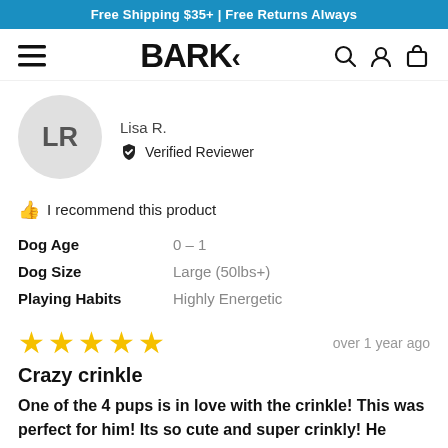Free Shipping $35+ | Free Returns Always
[Figure (logo): BARK logo with hamburger menu, search, account, and cart icons]
Lisa R.
Verified Reviewer
I recommend this product
Dog Age: 0 – 1
Dog Size: Large (50lbs+)
Playing Habits: Highly Energetic
over 1 year ago
Crazy crinkle
One of the 4 pups is in love with the crinkle! This was perfect for him! Its so cute and super crinkly! He